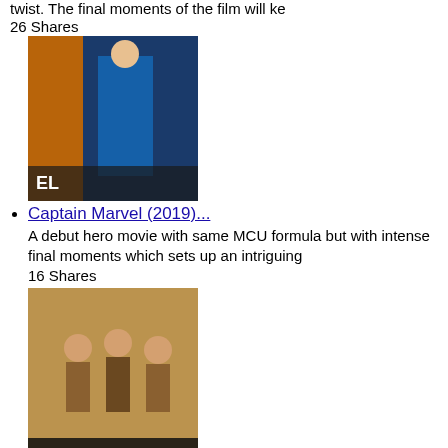twist. The final moments of the film will ke
26 Shares
[Figure (photo): Captain Marvel (2019) movie poster thumbnail]
Captain Marvel (2019)...
A debut hero movie with same MCU formula but with intense final moments which sets up an intriguing
16 Shares
[Figure (photo): Sonchiriya (2019) movie poster thumbnail]
Sonchiriya (2019)...
The highest principle is the Dharma of a rebel. That Dharma is given various genius interpretations
13 Shares
[Figure (photo): Triple Frontier (2019) movie poster thumbnail]
Triple Frontier (2019)...
You can restart but...